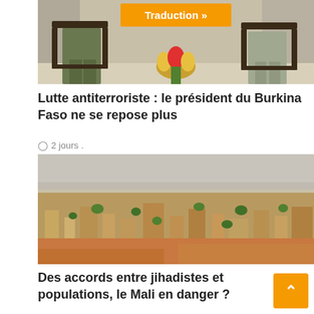[Figure (photo): Two people in military/formal clothing seated in ornate chairs, with flowers in center. Orange 'Traduction »' button overlay.]
Lutte antiterroriste : le président du Burkina Faso ne se repose plus
2 jours .
[Figure (photo): Aerial view of a densely populated African city, likely Bamako, Mali, with sandy-colored buildings and occasional green trees stretching to the horizon under a hazy sky.]
Des accords entre jihadistes et populations, le Mali en danger ?